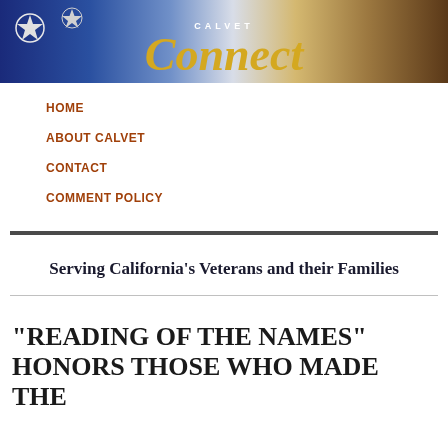[Figure (illustration): CalVet Connect banner header with American flag stars on left, gold italic 'Connect' text with 'CALVET' above it, and military/camouflage imagery on right]
HOME
ABOUT CALVET
CONTACT
COMMENT POLICY
Serving California's Veterans and their Families
“READING OF THE NAMES” HONORS THOSE WHO MADE THE